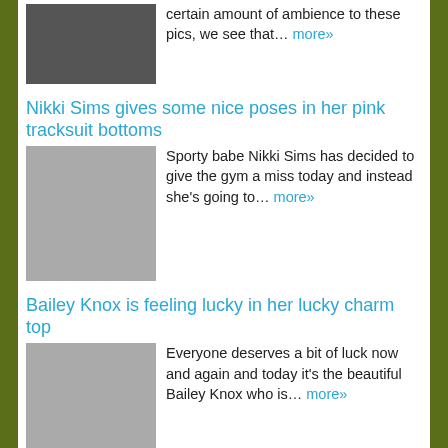certain amount of ambience to these pics, we see that… more»
Nikki Sims gives some nice poses in her pink tracksuit bottoms
Sporty babe Nikki Sims has decided to give the gym a miss today and instead she's going to… more»
Bailey Knox is feeling lucky in her lucky charm top
Everyone deserves a bit of luck now and again and today it's the beautiful Bailey Knox who is… more»
Kari Sweets enjoying the outdoors in her shirt and pink panties
It's a pleasure to bring you a very sweet set of outdoor photos now by the sweetest girl of… more»
Meet Madden giving a sexy naked bedroom tease
Meet Madden gives a saucy bedroom tease